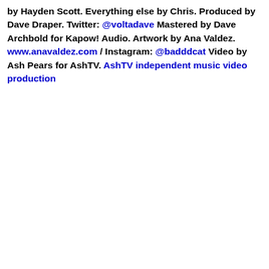by Hayden Scott. Everything else by Chris. Produced by Dave Draper. Twitter: @voltadave Mastered by Dave Archbold for Kapow! Audio. Artwork by Ana Valdez. www.anavaldez.com / Instagram: @badddcat Video by Ash Pears for AshTV. AshTV independent music video production